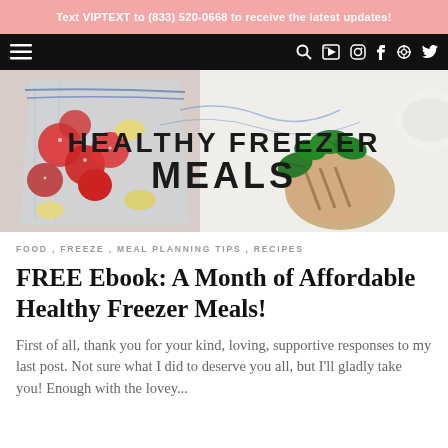Text VIPTEXT to (833) 520-0668 to receive the latest updates!
[Figure (screenshot): Navigation bar with hamburger menu icon on left, search and social media icons (YouTube, Instagram, Facebook, Pinterest, Twitter) on right, black background]
[Figure (photo): Hero banner image showing frozen fruits and vegetables in freezer bags on the left side, grilled chicken with spinach leaves on the right side, with the text HEALTHY FREEZER MEALS overlaid in the center]
FOOD , FREEZE , MEAL PLANNING TIPS , RECIPES
FREE Ebook: A Month of Affordable Healthy Freezer Meals!
First of all, thank you for your kind, loving, supportive responses to my last post. Not sure what I did to deserve you all, but I'll gladly take you! Enough with the lovey...